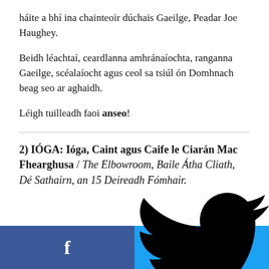háite a bhí ina chainteoir dúchais Gaeilge, Peadar Joe Haughey.
Beidh léachtaí, ceardlanna amhránaíochta, ranganna Gaeilge, scéalaíocht agus ceol sa tsiúl ón Domhnach beag seo ar aghaidh.
Léigh tuilleadh faoi anseo!
2) IÓGA: Ióga, Caint agus Caife le Ciarán Mac Fhearghusa / The Elbowroom, Baile Átha Cliath, Dé Sathairn, an 15 Deireadh Fómhair.
[Figure (other): Social media share buttons: Facebook (dark blue, left) and Twitter (light blue, right)]